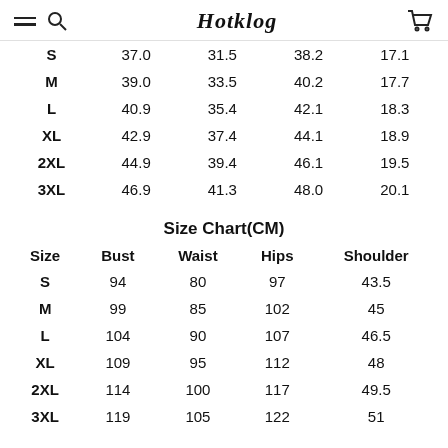Hotklog
| Size | Bust | Waist | Hips | Shoulder |
| --- | --- | --- | --- | --- |
| S | 37.0 | 31.5 | 38.2 | 17.1 |
| M | 39.0 | 33.5 | 40.2 | 17.7 |
| L | 40.9 | 35.4 | 42.1 | 18.3 |
| XL | 42.9 | 37.4 | 44.1 | 18.9 |
| 2XL | 44.9 | 39.4 | 46.1 | 19.5 |
| 3XL | 46.9 | 41.3 | 48.0 | 20.1 |
Size Chart(CM)
| Size | Bust | Waist | Hips | Shoulder |
| --- | --- | --- | --- | --- |
| S | 94 | 80 | 97 | 43.5 |
| M | 99 | 85 | 102 | 45 |
| L | 104 | 90 | 107 | 46.5 |
| XL | 109 | 95 | 112 | 48 |
| 2XL | 114 | 100 | 117 | 49.5 |
| 3XL | 119 | 105 | 122 | 51 |